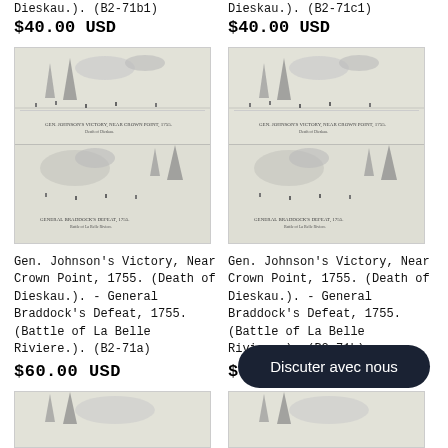Dieskau.). (B2-71b1)
$40.00 USD
Dieskau.). (B2-71c1)
$40.00 USD
[Figure (illustration): Gen. Johnson's Victory Near Crown Point 1755 and General Braddock's Defeat 1755 - historical battle print, left copy]
[Figure (illustration): Gen. Johnson's Victory Near Crown Point 1755 and General Braddock's Defeat 1755 - historical battle print, right copy]
Gen. Johnson's Victory, Near Crown Point, 1755. (Death of Dieskau.). - General Braddock's Defeat, 1755. (Battle of La Belle Riviere.). (B2-71a)
$60.00 USD
Gen. Johnson's Victory, Near Crown Point, 1755. (Death of Dieskau.). - General Braddock's Defeat, 1755. (Battle of La Belle Riviere.). (B2-71b)
$60.00
[Figure (illustration): Partial bottom image left - historical battle print]
[Figure (illustration): Partial bottom image right - historical battle print]